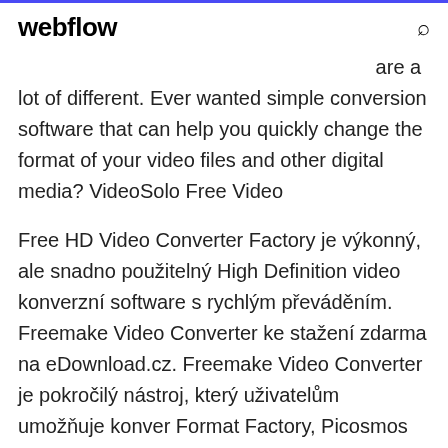webflow
are a lot of different. Ever wanted simple conversion software that can help you quickly change the format of your video files and other digital media? VideoSolo Free Video
Free HD Video Converter Factory je výkonný, ale snadno použitelný High Definition video konverzní software s rychlým převáděním. Freemake Video Converter ke stažení zdarma na eDownload.cz. Freemake Video Converter je pokročilý nástroj, který uživatelům umožňuje konver Format Factory, Picosmos Tools, Freetime,audio,video converter,clipper,joiner,spliter,mixer,crop,delogo,video player,screen recorder,video downloader Free